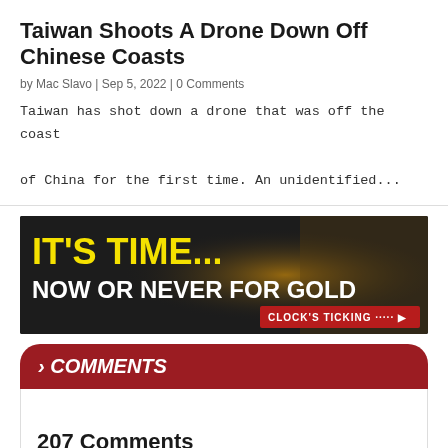Taiwan Shoots A Drone Down Off Chinese Coasts
by Mac Slavo | Sep 5, 2022 | 0 Comments
Taiwan has shot down a drone that was off the coast of China for the first time. An unidentified...
[Figure (advertisement): Advertisement banner with dark background, yellow bold text 'IT'S TIME...' and white text 'NOW OR NEVER FOR GOLD', with 'CLOCK'S TICKING' button in red on the right side.]
> COMMENTS
207 Comments